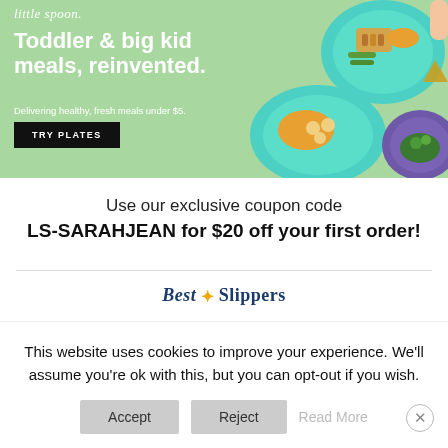[Figure (illustration): Little Spoon advertisement banner with green background showing toddler meal plates with food, logo at top left reading 'little spoon', headline 'Toddler & big kid meals, reinvented.', subtext 'Delivering healthy, fresh meals under $5.', and a black 'TRY PLATES' button.]
Use our exclusive coupon code
LS-SARAHJEAN for $20 off your first order!
[Figure (logo): Best Slippers logo with sun icon above the S in Slippers, text in dark navy blue]
This website uses cookies to improve your experience. We'll assume you're ok with this, but you can opt-out if you wish.